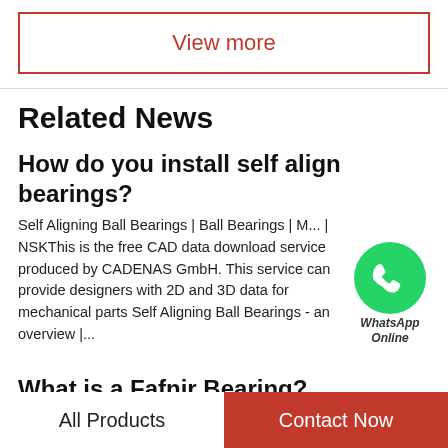View more
Related News
How do you install self align bearings?
Self Aligning Ball Bearings | Ball Bearings | ... | NSKThis is the free CAD data download service produced by CADENAS GmbH. This service can provide designers with 2D and 3D data for mechanical parts Self Aligning Ball Bearings - an overview |...
[Figure (illustration): WhatsApp Online chat bubble icon with green phone icon and italic text 'WhatsApp Online']
What is a Fafnir Bearing?
Fafnir Bearing | New Britain Industrial MuseumFafnir
All Products    Contact Now